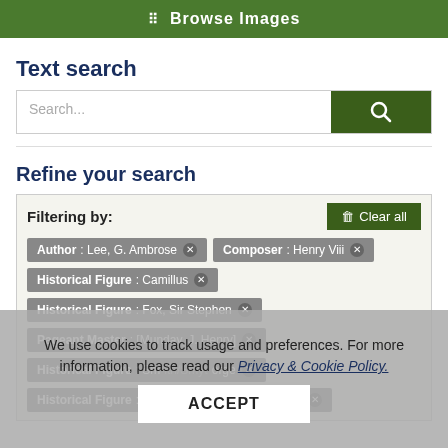[Figure (screenshot): Green banner with grid icon and text 'Browse Images']
Text search
[Figure (screenshot): Search input box with placeholder 'Search...' and dark green search button with magnifier icon]
Refine your search
Filtering by:
Author: Lee, G. Ambrose ×   Composer: Henry Viii ×   Historical Figure: Camillus ×   Historical Figure: Fox, Sir Stephen ×   Pageant Master: [Munday, J. Henry] ×   Historical Figure: Smith/Smythe, George ×   Historical Figure: Caesar [Julius Julius Caesar] ×
We use cookies to track usage and preferences. For more information, please read our Privacy & Cookie Policy.
ACCEPT